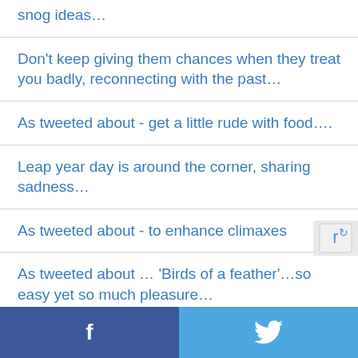snog ideas…
Don't keep giving them chances when they treat you badly, reconnecting with the past…
As tweeted about - get a little rude with food….
Leap year day is around the corner, sharing sadness…
As tweeted about - to enhance climaxes
As tweeted about … 'Birds of a feather'…so easy yet so much pleasure…
Facebook | Twitter